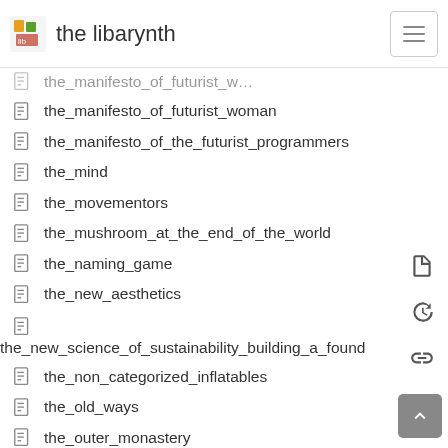the libarynth
the_manifesto_of_futurist_woman
the_manifesto_of_the_futurist_programmers
the_mind
the_movementors
the_mushroom_at_the_end_of_the_world
the_naming_game
the_new_aesthetics
the_new_science_of_sustainability_building_a_found…
the_non_categorized_inflatables
the_old_ways
the_outer_monastery
the_overlooked_and_the_unheard
the_overstory
the_peripheral
the_power_of_nightmares
the_primitive_rule_of_the_templars
the_rule_of_basil